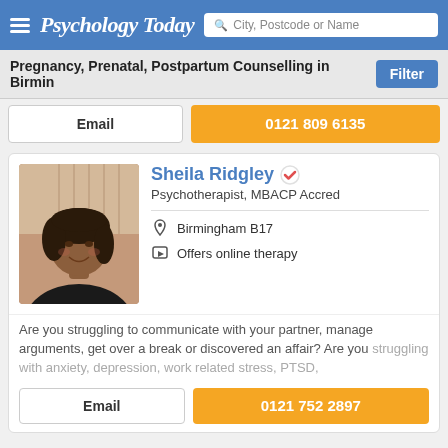Psychology Today — City, Postcode or Name search
Pregnancy, Prenatal, Postpartum Counselling in Birmin
Email | 0121 809 6135
Sheila Ridgley — Psychotherapist, MBACP Accred — Birmingham B17 — Offers online therapy
Are you struggling to communicate with your partner, manage arguments, get over a break or discovered an affair? Are you struggling with anxiety, depression, work related stress, PTSD,
Email | 0121 752 2897